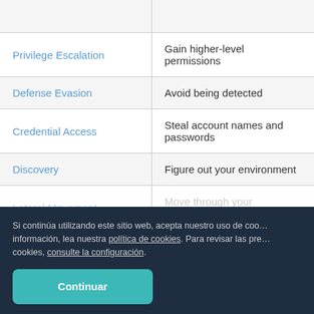| Category | Description |
| --- | --- |
| Privilege Escalation | Gain higher-level permissions |
| Defense Evasion | Avoid being detected |
| Credential Access | Steal account names and passwords |
| Discovery | Figure out your environment |
| Lateral Movement | Move through your environment |
| Collection | Gather data of interest to their goal |
Si continúa utilizando este sitio web, acepta nuestro uso de cookies. Para más información, lea nuestra política de cookies. Para revisar las preferencias de cookies, consulte la configuración.